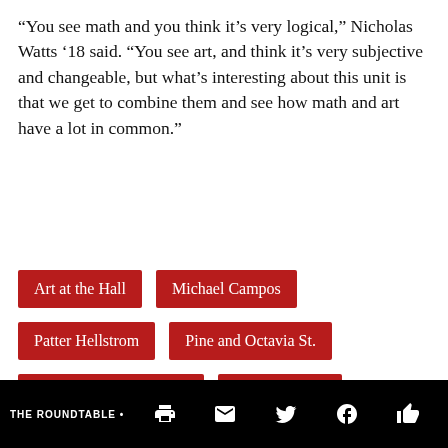“You see math and you think it’s very logical,” Nicholas Watts ’18 said. “You see art, and think it’s very subjective and changeable, but what’s interesting about this unit is that we get to combine them and see how math and art have a lot in common.”
Art at the Hall
Michael Campos
Patter Hellstrom
Pine and Octavia St.
Stuart Hall High School
the roundtable
Theory of Knowledge
TOK
THE ROUNDTABLE •